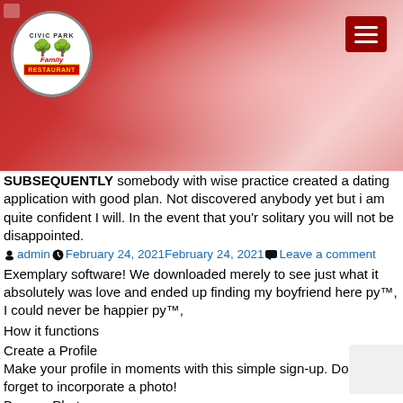[Figure (screenshot): Civic Park Family Restaurant website header banner with red gradient background, circular logo on left, hamburger menu button on right]
SUBSEQUENTLY somebody with wise practice created a dating application with good plan. Not discovered anybody yet but i am quite confident I will. In the event that you'r solitary you will not be disappointed.
admin February 24, 2021February 24, 2021 Leave a comment
Exemplary software! We downloaded merely to see just what it absolutely was love and ended up finding my boyfriend here ру™, I could never be happier ру™,
How it functions
Create a Profile
Make your profile in moments with this simple sign-up. DonвЃ™t forget to incorporate a photo!
Browse Photos
Search our member that is large base simplicity, with a variety of choices